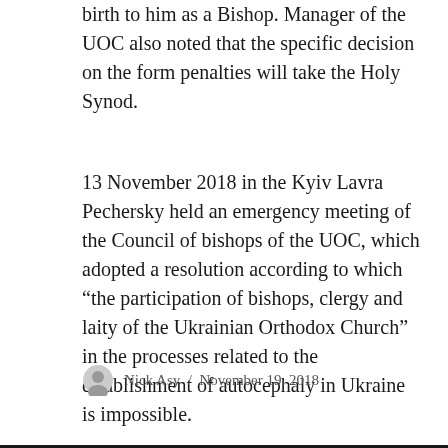birth to him as a Bishop. Manager of the UOC also noted that the specific decision on the form penalties will take the Holy Synod.
13 November 2018 in the Kyiv Lavra Pechersky held an emergency meeting of the Council of bishops of the UOC, which adopted a resolution according to which “the participation of bishops, clergy and laity of the Ukrainian Orthodox Church” in the processes related to the establishment of autocephaly in Ukraine is impossible.
Nick Asy / November 19, 2018